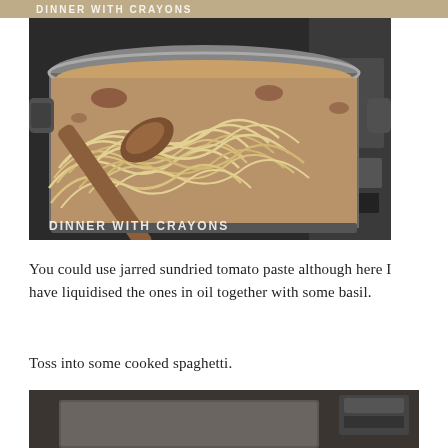[Figure (photo): Partial view of a pot with spaghetti and watermark text 'DINNER WITH CRAYONS' at top of page (cropped strip)]
[Figure (photo): A stainless steel pot on a stove containing spaghetti being stirred with a wooden spoon. Watermark text 'DINNER WITH CRAYONS' in bottom-left corner of photo.]
You could use jarred sundried tomato paste although here I have liquidised the ones in oil together with some basil.
Toss into some cooked spaghetti.
[Figure (photo): Partial view of a pot on a stove, cropped at the bottom of the page, dimly lit kitchen scene.]